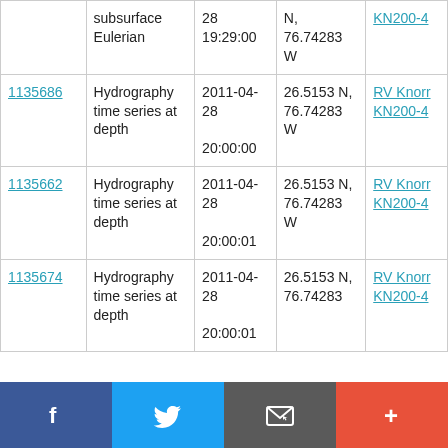| ID | Type | Date/Time | Location | Cruise |
| --- | --- | --- | --- | --- |
| (partial row above) | subsurface Eulerian | 28 19:29:00 | N, 76.74283 W | KN200-4 |
| 1135686 | Hydrography time series at depth | 2011-04-28 20:00:00 | 26.5153 N, 76.74283 W | RV Knorr KN200-4 |
| 1135662 | Hydrography time series at depth | 2011-04-28 20:00:01 | 26.5153 N, 76.74283 W | RV Knorr KN200-4 |
| 1135674 | Hydrography time series at depth | 2011-04-28 20:00:01 | 26.5153 N, 76.74283 | RV Knorr KN200-4 |